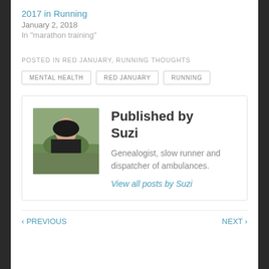2017 in Running
January 2, 2018
In "marathon training"
POSTED IN RED JANUARY, RUNNING THOUGHTS
MENTAL HEALTH
RED JANUARY
RUNNING
Published by Suzi
Genealogist, slow runner and dispatcher of ambulances.
View all posts by Suzi
‹ PREVIOUS   NEXT ›